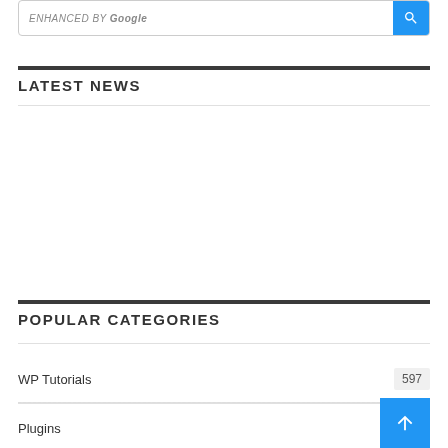ENHANCED BY Google
LATEST NEWS
POPULAR CATEGORIES
WP Tutorials  597
Plugins